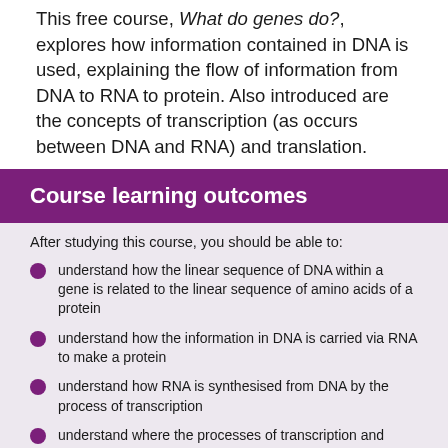This free course, What do genes do?, explores how information contained in DNA is used, explaining the flow of information from DNA to RNA to protein. Also introduced are the concepts of transcription (as occurs between DNA and RNA) and translation.
Course learning outcomes
After studying this course, you should be able to:
understand how the linear sequence of DNA within a gene is related to the linear sequence of amino acids of a protein
understand how the information in DNA is carried via RNA to make a protein
understand how RNA is synthesised from DNA by the process of transcription
understand where the processes of transcription and translation are carried out in cells